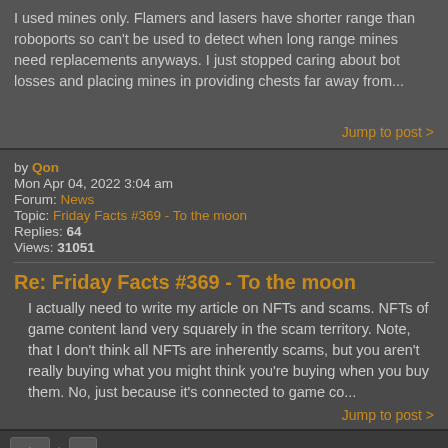I used mines only. Flamers and lasers have shorter range than roboports so can't be used to detect when long range mines need replacements anyways. I just stopped caring about bot losses and placing mines in providing chests far away from...
Jump to post >
by Qon
Mon Apr 04, 2022 3:04 am
Forum: News
Topic: Friday Facts #369 - To the moon
Replies: 64
Views: 31051
Re: Friday Facts #369 - To the moon
I actually need to write my article on NFTs and scams. NFTs of game content land very squarely in the scam territory. Note, that I don't think all NFTs are inherently scams, but you aren't really buying what you might think you're buying when you buy them. No, just because it's connected to game co...
Jump to post >
Search found 1744 matches  1 2 3 4 5 6 ... 88